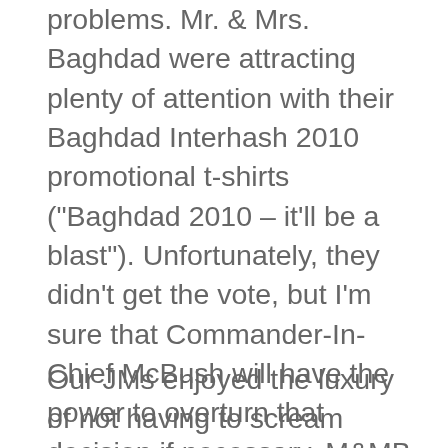problems. Mr. & Mrs. Baghdad were attracting plenty of attention with their Baghdad Interhash 2010 promotional t-shirts ("Baghdad 2010 – it'll be a blast"). Unfortunately, they didn't get the vote, but I'm sure that Commander-In-Chief McBush will have the power to overturn that decision if necessary. M&MB answered questions politely, doubtless wondering quite how they managed to hash in one of the world's largest cities and here they were talking to fifteen people in a Queens cellar.
Our JMs enjoyed the luxury of not having to scream during the circle. Various down downs were doled out, recipients and details unfortunately totally forgotten. Somebody might have got one for spitting